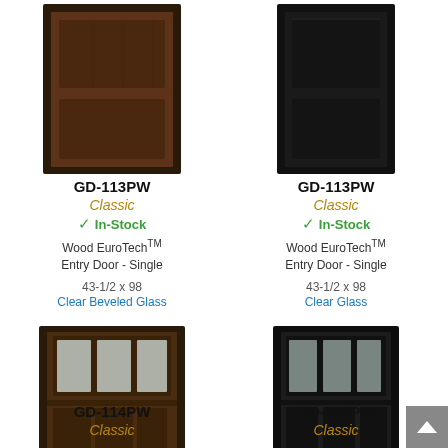[Figure (photo): Dark brown wood panel entry door, GD-113PW, no glass insert]
GD-113PW
Classic
In-Stock
Wood EuroTech™ Entry Door - Single
43-1/2 x 98
Clear Beveled Glass
[Figure (photo): Very dark (near black) wood panel entry door, GD-113PW, no glass insert]
GD-113PW
Classic
In-Stock
Wood EuroTech™ Entry Door - Single
43-1/2 x 98
Clear Glass
[Figure (photo): Dark brown wood craftsman style entry door GD-114PW with three rectangular glass lites at top]
GD-114PW
Classic
[Figure (photo): Very dark (near black) wood craftsman style entry door GD-114PW with three rectangular glass lites at top]
GD-114PW
Classic